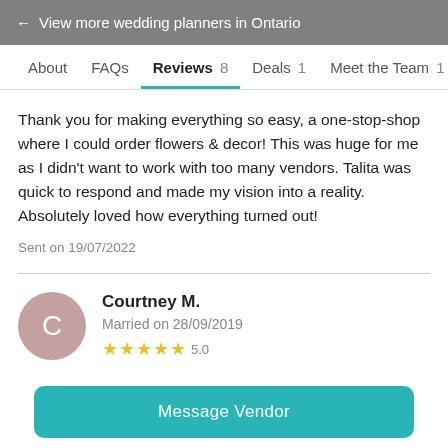← View more wedding planners in Ontario
About  FAQs  Reviews 8  Deals 1  Meet the Team 1
Thank you for making everything so easy, a one-stop-shop where I could order flowers & decor! This was huge for me as I didn't want to work with too many vendors. Talita was quick to respond and made my vision into a reality. Absolutely loved how everything turned out!
Sent on 19/07/2022
Courtney M.
Married on 28/09/2019
Message Vendor